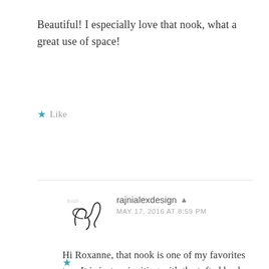Beautiful! I especially love that nook, what a great use of space!
★ Like
Reply
rajnialexdesign ▲
MAY 17, 2016 AT 8:59 PM
Hi Roxanne, that nook is one of my favorites too. It is just so inviting with the tufted back. Thank you for taking the time to leave such kind words. Xoxo Rajni
★ Like